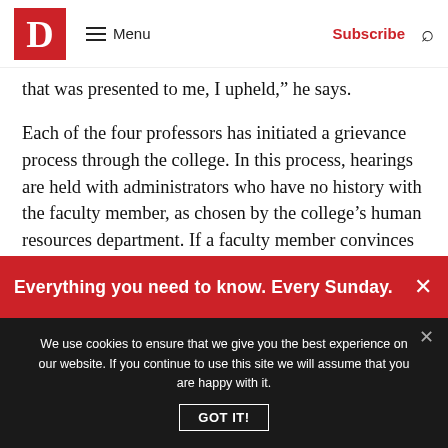D | Menu | Subscribe | Search
that was presented to me, I upheld, he says.
Each of the four professors has initiated a grievance process through the college. In this process, hearings are held with administrators who have no history with the faculty member, as chosen by the college's human resources department. If a faculty member convinces those administrators and wins their case, the college's decision can be overturned.
Everything you need to know. Every Sunday.
We use cookies to ensure that we give you the best experience on our website. If you continue to use this site we will assume that you are happy with it.
GOT IT!